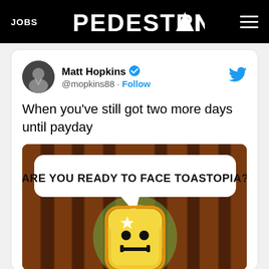JOBS | PEDESTRIAN | (hamburger menu)
Matt Hopkins @mopkins88 · Follow
When you've still got two more days until payday
[Figure (screenshot): Screenshot of a video game showing a cartoon toast character with the text 'ARE YOU READY TO FACE TOASTOPIA?' on a white speech bubble, set against a brown wood-paneled background with colorful glow behind the toast character.]